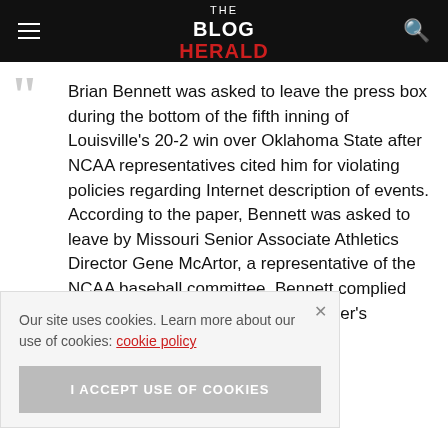THE BLOG HERALD
Brian Bennett was asked to leave the press box during the bottom of the fifth inning of Louisville's 20-2 win over Oklahoma State after NCAA representatives cited him for violating policies regarding Internet description of events. According to the paper, Bennett was asked to leave by Missouri Senior Associate Athletics Director Gene McArtor, a representative of the NCAA baseball committee. Bennett complied with the request and left without ...paper's ...Louisville's
Our site uses cookies. Learn more about our use of cookies: cookie policy
I ACCEPT USE OF COOKIES